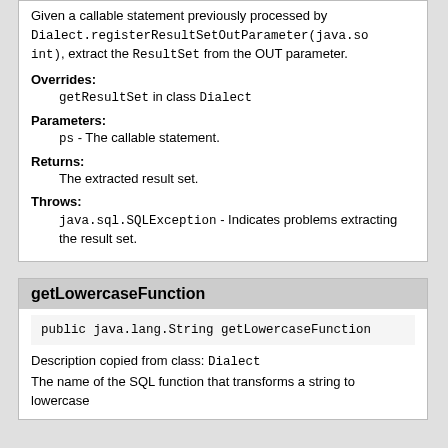Given a callable statement previously processed by Dialect.registerResultSetOutParameter(java.sql.CallableStatement, int), extract the ResultSet from the OUT parameter.
Overrides:
getResultSet in class Dialect
Parameters:
ps - The callable statement.
Returns:
The extracted result set.
Throws:
java.sql.SQLException - Indicates problems extracting the result set.
getLowercaseFunction
public java.lang.String getLowercaseFunction()
Description copied from class: Dialect
The name of the SQL function that transforms a string to lowercase